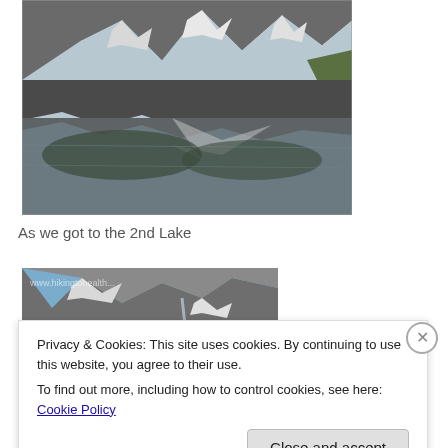[Figure (photo): Mountain lake with snow-capped rocky peaks reflected in calm water below]
As we got to the 2nd Lake
[Figure (photo): Rocky mountain cliff face with snow patches and blue sky, watermark visible]
Privacy & Cookies: This site uses cookies. By continuing to use this website, you agree to their use.
To find out more, including how to control cookies, see here: Cookie Policy
Close and accept